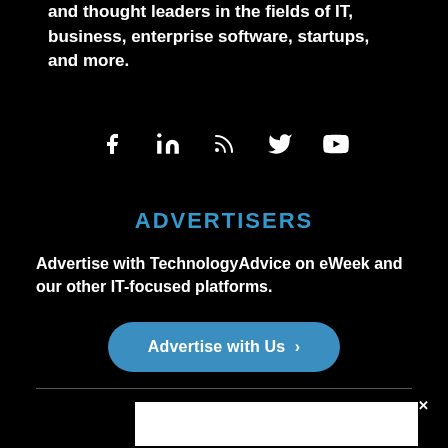and thought leaders in the fields of IT, business, enterprise software, startups, and more.
[Figure (infographic): Social media icons: Facebook, LinkedIn, RSS feed, Twitter, YouTube]
ADVERTISERS
Advertise with TechnologyAdvice on eWeek and our other IT-focused platforms.
Advertise with Us >
[Figure (other): White advertisement box with close X button in top right corner]